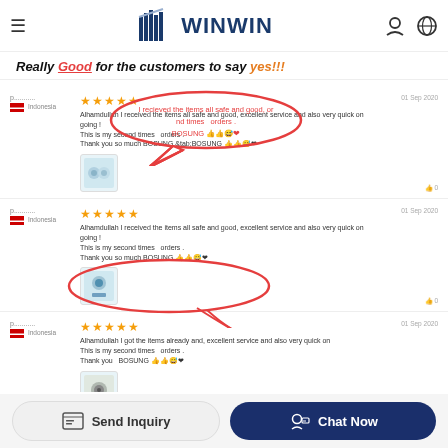WINWIN
Really Good for the customers to say yes!!!
p........... Indonesia
★★★★★
Alhamdullah I received the items all safe and good, excellent service and also very quick on going!
This is my second times orders
Thank you so much BOSUNG BOSUNG 👍👍😅❤
01 Sep 2020
p........... Indonesia
★★★★★
Alhamdullah I received the items all safe and good, excellent service and also very quick on going!
This is my second times orders
Thank you so much BOSUNG 👍👍😅❤
01 Sep 2020
p........... Indonesia
★★★★★
Alhamdullah I got the items already and, excellent service and also very quick on
This is my second times orders
Thank you BOSUNG 👍👍😅❤
01 Sep 2020
p.............. United States
★★★★★
On time shipment my boss very satisfied of this supplier
14 Aug 2020
Send Inquiry
Chat Now